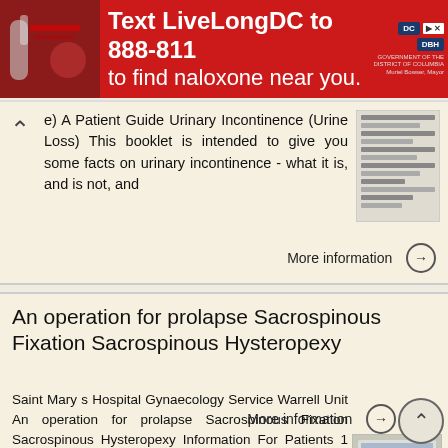[Figure (other): Red advertisement banner: Text LiveLongDC to 888-811 to find naloxone near you. DC and DBH logos shown.]
e) A Patient Guide Urinary Incontinence (Urine Loss) This booklet is intended to give you some facts on urinary incontinence - what it is, and is not, and
More information →
An operation for prolapse Sacrospinous Fixation Sacrospinous Hysteropexy
Saint Mary s Hospital Gynaecology Service Warrell Unit An operation for prolapse Sacrospinous Fixation Sacrospinous Hysteropexy Information For Patients 1 What is a prolapse? Prolapse is a bulge or lump
More information →